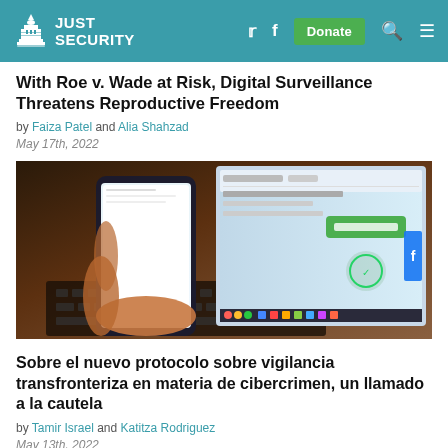JUST SECURITY
With Roe v. Wade at Risk, Digital Surveillance Threatens Reproductive Freedom
by Faiza Patel and Alia Shahzad
May 17th, 2022
[Figure (photo): A person holding a smartphone in front of a laptop screen showing a web page with green elements and a WhatsApp-like interface]
Sobre el nuevo protocolo sobre vigilancia transfronteriza en materia de cibercrimen, un llamado a la cautela
by Tamir Israel and Katitza Rodriguez
May 13th, 2022